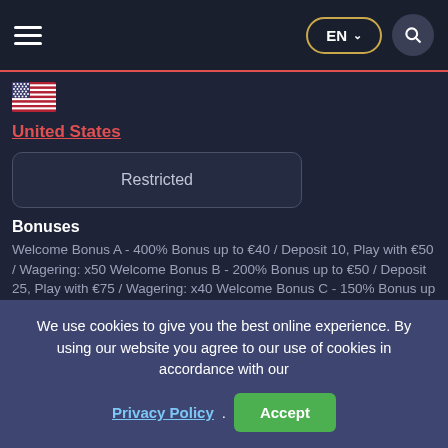EN (language selector) | Search
[Figure (illustration): US flag icon]
United States
Restricted
Bonuses
Welcome Bonus A - 400% Bonus up to €40 / Deposit 10, Play with €50 / Wagering: x50 Welcome Bonus B - 200% Bonus up to €50 / Deposit 25, Play with €75 / Wagering: x40 Welcome Bonus C - 150% Bonus up to €150 / Deposit 100, Play with €250 / Wagering: x35 2nd Deposit Bonus - 150% up to
We use cookies to give you the best online experience. By using our website you agree to our use of cookies in accordance with our Privacy Policy.